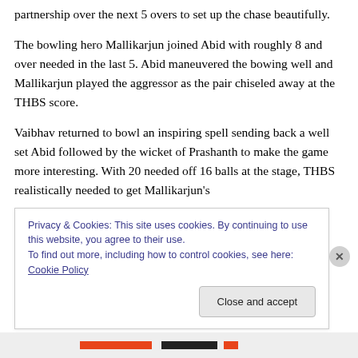partnership over the next 5 overs to set up the chase beautifully.
The bowling hero Mallikarjun joined Abid with roughly 8 and over needed in the last 5. Abid maneuvered the bowing well and Mallikarjun played the aggressor as the pair chiseled away at the THBS score.
Vaibhav returned to bowl an inspiring spell sending back a well set Abid followed by the wicket of Prashanth to make the game more interesting. With 20 needed off 16 balls at the stage, THBS realistically needed to get Mallikarjun's
Privacy & Cookies: This site uses cookies. By continuing to use this website, you agree to their use.
To find out more, including how to control cookies, see here: Cookie Policy